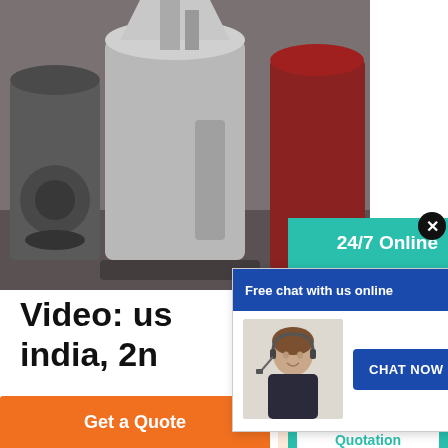[Figure (photo): Industrial stone crusher machines in a factory/warehouse setting — large grey metal conical/cylindrical mills and crushers with belt drives visible]
Video: us india, 2n
Type: Impact Crusher Used stone crusher plant fo crusher india ... mini stone crusher for sale in india crusher manufacturer pakistan...
Get Price
[Figure (screenshot): Free chat popup overlay showing a female customer service agent wearing a headset microphone, with a blue header bar reading 'Free chat with us online', a close X button, and a dark blue 'CHAT NOW' button]
[Figure (screenshot): 24/7 Online sidebar panel on teal/green background showing a close X button, '24/7 Online' heading, a photo of a person with headset, 'Have any requests, click here.' text, a Quotation button, and a dashed divider]